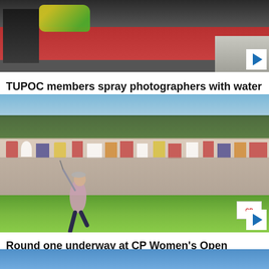[Figure (photo): People including someone in a red shirt holding colorful water toys/squirt guns, being sprayed with water]
TUPOC members spray photographers with water
[Figure (photo): Golfer mid-swing on fairway with large crowd of spectators watching, at CP Women's Open golf tournament, sunny day with trees in background]
Round one underway at CP Women's Open
[Figure (photo): Partial view of another story thumbnail at bottom of page]